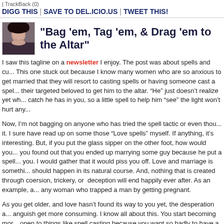TrackBack (0)
DIGG THIS | SAVE TO DEL.ICIO.US | TWEET THIS!
"Bag 'em, Tag 'em, & Drag 'em to the Altar"
I saw this tagline on a newsletter I enjoy. The post was about spells and cu... This one stuck out because I know many women who are so anxious to get married that they will resort to casting spells or having someone cast a spel... their targeted beloved to get him to the altar. “He” just doesn’t realize yet wh... catch he has in you, so a little spell to help him “see” the light won’t hurt any...
Now, I’m not bagging on anyone who has tried the spell tactic or even thou... it. I sure have read up on some those “Love spells” myself. If anything, it’s interesting. But, if you put the glass sipper on the other foot, how would you... you found out that you ended up marrying some guy because he put a spell... you. I would gather that it would piss you off. Love and marriage is somethi... should happen in its natural course. And, nothing that is created through coersion, trickery, or deception will end happily ever after. As an example, a... any woman who trapped a man by getting pregnant.
As you get older, and love hasn’t found its way to you yet, the desperation a... anguish get more consuming. I know all about this. You start becoming mor... open to things like spell casting because you want so badly to have a specia... someone. Everyone you know is getting married, and there are people yo...